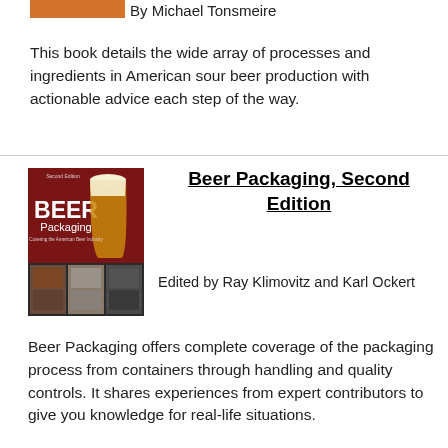By Michael Tonsmeire
This book details the wide array of processes and ingredients in American sour beer production with actionable advice each step of the way.
[Figure (photo): Book cover of Beer Packaging Second Edition showing a beer glass on red background and packaging equipment below]
Beer Packaging, Second Edition
Edited by Ray Klimovitz and Karl Ockert
Beer Packaging offers complete coverage of the packaging process from containers through handling and quality controls. It shares experiences from expert contributors to give you knowledge for real-life situations.